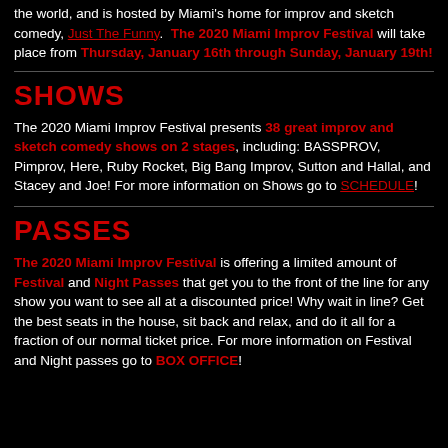the world, and is hosted by Miami's home for improv and sketch comedy, Just The Funny.  The 2020 Miami Improv Festival will take place from Thursday, January 16th through Sunday, January 19th!
SHOWS
The 2020 Miami Improv Festival presents 38 great improv and sketch comedy shows on 2 stages, including: BASSPROV, Pimprov, Here, Ruby Rocket, Big Bang Improv, Sutton and Hallal, and Stacey and Joe! For more information on Shows go to SCHEDULE!
PASSES
The 2020 Miami Improv Festival is offering a limited amount of Festival and Night Passes that get you to the front of the line for any show you want to see all at a discounted price! Why wait in line? Get the best seats in the house, sit back and relax, and do it all for a fraction of our normal ticket price. For more information on Festival and Night passes go to BOX OFFICE!